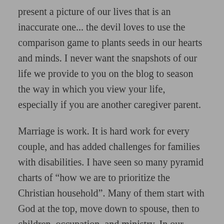present a picture of our lives that is an inaccurate one... the devil loves to use the comparison game to plants seeds in our hearts and minds. I never want the snapshots of our life we provide to you on the blog to season the way in which you view your life, especially if you are another caregiver parent.
Marriage is work. It is hard work for every couple, and has added challenges for families with disabilities. I have seen so many pyramid charts of “how we are to prioritize the Christian household”. Many of them start with God at the top, move down to spouse, then to children, occupation, and ministry. In our longing for checklists and flow charts Christian couples cling to these visual aids. But we have to remember that God will plant us in seasons of life that don’t follow charts. It is in these seasons that we have to lean heavily on His